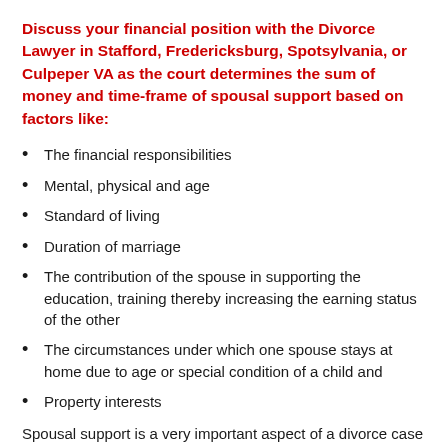Discuss your financial position with the Divorce Lawyer in Stafford, Fredericksburg, Spotsylvania, or Culpeper VA as the court determines the sum of money and time-frame of spousal support based on factors like:
The financial responsibilities
Mental, physical and age
Standard of living
Duration of marriage
The contribution of the spouse in supporting the education, training thereby increasing the earning status of the other
The circumstances under which one spouse stays at home due to age or special condition of a child and
Property interests
Spousal support is a very important aspect of a divorce case and requires the expertise of an experienced lawyer associated with The Law Offices Of SRIS P.C.
Payment